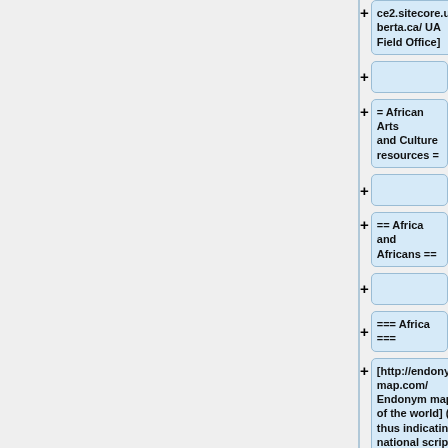[Figure (screenshot): Wikipedia-style page diff/tree editor showing hierarchical wiki markup nodes. Left panel is gray. Right panel shows a series of expandable nodes with + buttons and blue rounded boxes containing wiki markup text: 'ce2.sitecore.ualberta.ca/ UA Field Office]', an empty node, '= African Arts and Culture resources =', an empty node, '== Africa and Africans ==', an empty node, '=== Africa ===', and '[http://endonymmap.com/ Endonym map of the world] (& thus indicating national scripts']